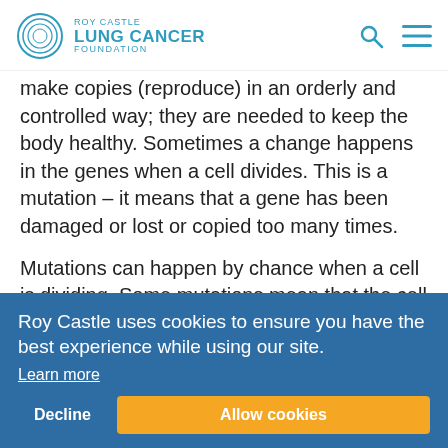Roy Castle Lung Cancer Foundation
make copies (reproduce) in an orderly and controlled way; they are needed to keep the body healthy. Sometimes a change happens in the genes when a cell divides. This is a mutation – it means that a gene has been damaged or lost or copied too many times.
Mutations can happen by chance when a cell is dividing. Some mutations mean that the cell no longer understands its instructions and can start to grow out of control. This may cause a tumour to form. This can start in different types of cells in the lung.
The new study was carried out by an international team of scientists, led by researchers at the US National Cancer Institute (NCI), based in Rockville, Maryland, and published in the scientific journal Nature Genetics (Sept 6 2021).
Roy Castle uses cookies to ensure you have the best experience while using our site.
Learn more
Decline  Allow cookies